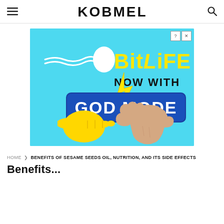≡  KOBMEL  🔍
[Figure (illustration): Advertisement banner for BitLife game app with 'GOD MODE' text, showing two cartoon hands pointing at each other (referencing Michelangelo's Creation of Adam), with a sperm cell graphic, lightning bolt, on a cyan/sky-blue background. Has close button (? and X) in top right corner.]
HOME  >  BENEFITS OF SESAME SEEDS OIL, NUTRITION, AND ITS SIDE EFFECTS
Benefits...